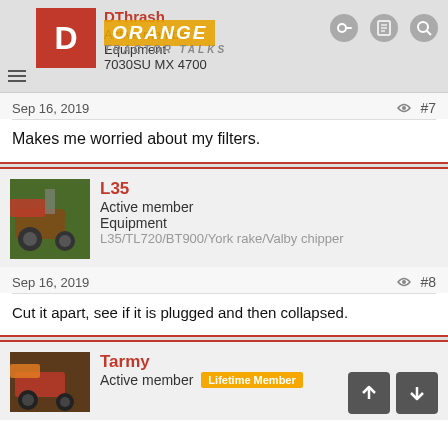DThrash | Active member | Equipment | 7030SU MX 4700
Sep 16, 2019   #7
Makes me worried about my filters.
L35 | Active member | Equipment | L35/TL720/BT900/York rake/Valby chipper
Sep 16, 2019   #8
Cut it apart, see if it is plugged and then collapsed.
Tarmy | Active member | Lifetime Member